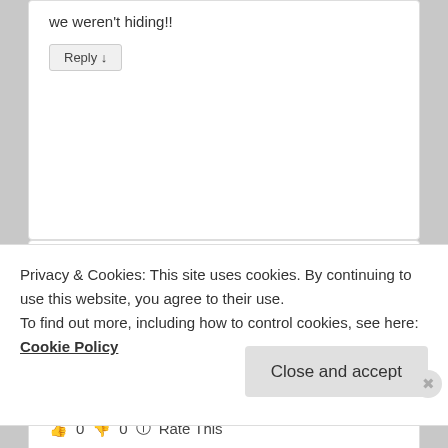we weren't hiding!!
Reply ↓
[Figure (photo): Headshot photo of Ellen, a middle-aged woman with short gray hair and glasses, wearing a purple top]
Ellen on December 30, 2006 at 12:21 pm said:
👍 0 👎 0 🔵 Rate This
Joe, I know I speak for others when I say how much we appreciate all your work to keep this blog
Privacy & Cookies: This site uses cookies. By continuing to use this website, you agree to their use.
To find out more, including how to control cookies, see here: Cookie Policy
Close and accept